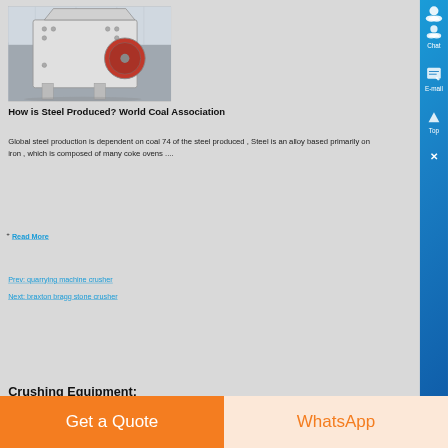[Figure (photo): Industrial crusher machine, large white/grey metallic crushing equipment in a warehouse setting]
How is Steel Produced? World Coal Association
Global steel production is dependent on coal 74 of the steel produced , Steel is an alloy based primarily on iron , which is composed of many coke ovens ....
+ Read More
Prev: quarrying machine crusher
Next: braxton bragg stone crusher
Crushing Equipment: